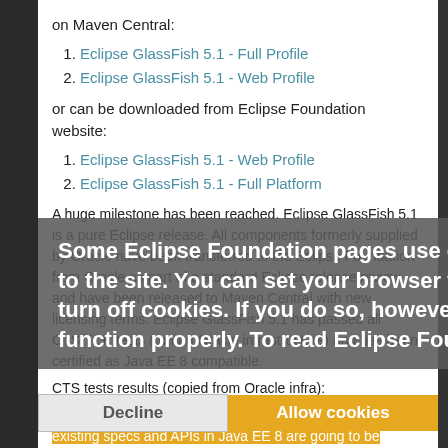on Maven Central:
1. Eclipse GlassFish 5.1 - Full Profile
2. Eclipse GlassFish 5.1 - Web Profile
or can be downloaded from Eclipse Foundation website:
1. Eclipse GlassFish 5.1 - Web Profile
2. Eclipse GlassFish 5.1 - Full Platform
A huge milestone has been reached. Eclipse GlassFish 5.1 is a pure Eclipse release. All components formerly supplied by Oracle have been transferred to the Eclipse Foundation from Oracle as part of a standard Eclipse release review and have been released to Maven Central with new licensing terms. Eclipse GlassFish 5.1 has passed all CTS/TCK tests (run on Oracle infrastructure) and has been certified as Java EE 8 compatible.
CTS tests results (copied from Oracle infra):
Some Eclipse Foundation pages use cookies to better serve you when you return to the site. You can set your browser to notify you before you receive a cookie or turn off cookies. If you do so, however, some areas of some sites may not function properly. To read Eclipse Foundation Privacy Policy click here.
The most interesting part however is arguably how the existing specs and APIs in Java EE 8 are going to be evolved and how that brings us to a Jakarta EE 9. It is here that things start to look a bit less clear at the moment. In order to make these at least two things need to happen...